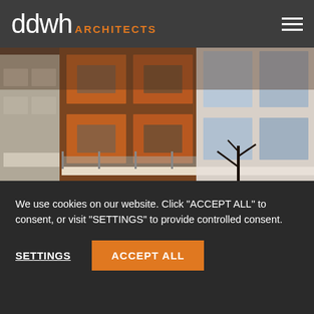ddwh ARCHITECTS
[Figure (photo): Exterior photo of a modern residential building with glass balcony railings, orange/brown cladding panels, and white concrete structure at dusk.]
THE DAIRY, PARSONS GREEN LANE
We use cookies on our website. Click "ACCEPT ALL" to consent, or visit "SETTINGS" to provide controlled consent.
SETTINGS   ACCEPT ALL